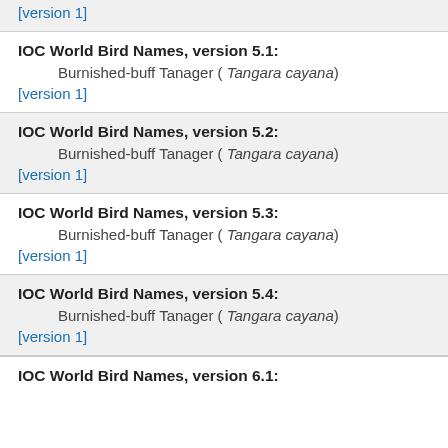[version 1]
IOC World Bird Names, version 5.1:
Burnished-buff Tanager ( Tangara cayana)
[version 1]
IOC World Bird Names, version 5.2:
Burnished-buff Tanager ( Tangara cayana)
[version 1]
IOC World Bird Names, version 5.3:
Burnished-buff Tanager ( Tangara cayana)
[version 1]
IOC World Bird Names, version 5.4:
Burnished-buff Tanager ( Tangara cayana)
[version 1]
IOC World Bird Names, version 6.1: